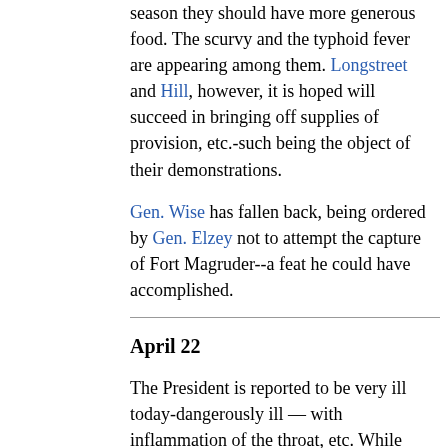season they should have more generous food. The scurvy and the typhoid fever are appearing among them. Longstreet and Hill, however, it is hoped will succeed in bringing off supplies of provision, etc.-such being the object of their demonstrations.
Gen. Wise has fallen back, being ordered by Gen. Elzey not to attempt the capture of Fort Magruder--a feat he could have accomplished.
April 22
The President is reported to be very ill today-dangerously ill — with inflammation of the throat, etc. While this is a source of grief to nearly all, it